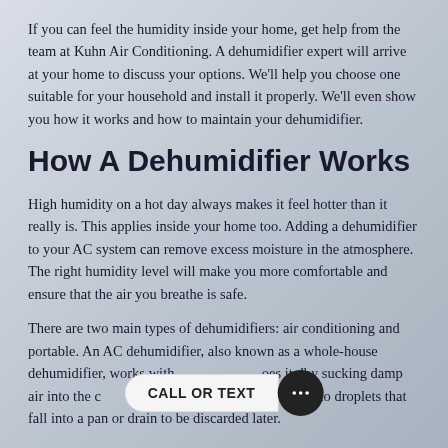If you can feel the humidity inside your home, get help from the team at Kuhn Air Conditioning. A dehumidifier expert will arrive at your home to discuss your options. We'll help you choose one suitable for your household and install it properly. We'll even show you how it works and how to maintain your dehumidifier.
How A Dehumidifier Works
High humidity on a hot day always makes it feel hotter than it really is. This applies inside your home too. Adding a dehumidifier to your AC system can remove excess moisture in the atmosphere. The right humidity level will make you more comfortable and ensure that the air you breathe is safe.
There are two main types of dehumidifiers: air conditioning and portable. An AC dehumidifier, also known as a whole-house dehumidifier, works with your AC system. It does it by sucking damp air into the coils, converting it into droplets that fall into a pan or drain to be discarded later.